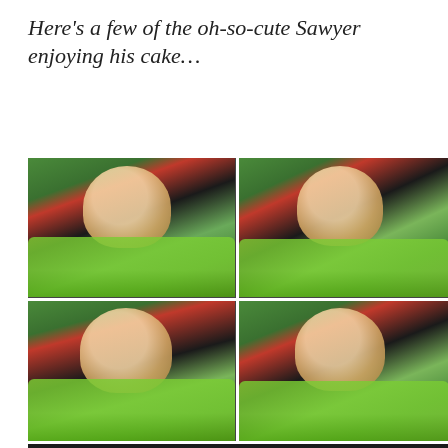Here's a few of the oh-so-cute Sawyer enjoying his cake…
[Figure (photo): Four-photo grid collage of a baby named Sawyer wearing a green bib eating cake, with cake on his face. Photos arranged in 2x2 grid. Below the grid is a fifth black-and-white blurred photo of a restaurant/party scene.]